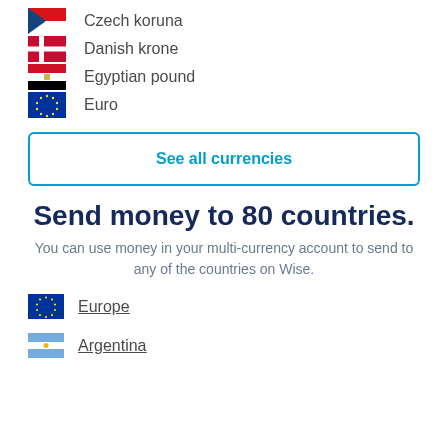Czech koruna
Danish krone
Egyptian pound
Euro
See all currencies
Send money to 80 countries.
You can use money in your multi-currency account to send to any of the countries on Wise.
Europe
Argentina